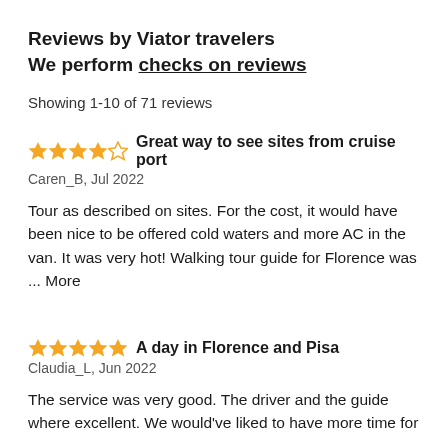Reviews by Viator travelers
We perform checks on reviews
Showing 1-10 of 71 reviews
Great way to see sites from cruise port
Caren_B, Jul 2022
Tour as described on sites. For the cost, it would have been nice to be offered cold waters and more AC in the van. It was very hot! Walking tour guide for Florence was ... More
A day in Florence and Pisa
Claudia_L, Jun 2022
The service was very good. The driver and the guide where excellent. We would've liked to have more time for